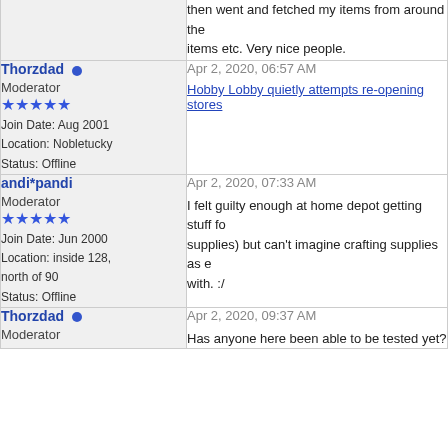then went and fetched my items from around the items etc. Very nice people.
Thorzdad • Moderator ★★★★★ Join Date: Aug 2001 Location: Nobletucky Status: Offline
Apr 2, 2020, 06:57 AM
Hobby Lobby quietly attempts re-opening stores
andi*pandi Moderator ★★★★★ Join Date: Jun 2000 Location: inside 128, north of 90 Status: Offline
Apr 2, 2020, 07:33 AM
I felt guilty enough at home depot getting stuff fo supplies) but can't imagine crafting supplies as e with. :/
Thorzdad • Moderator
Apr 2, 2020, 09:37 AM
Has anyone here been able to be tested yet?